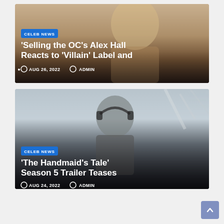[Figure (photo): Article card with photo of a smiling blonde woman. Blue 'CELEB NEWS' tag, headline about Selling the OC's Alex Hall, date Aug 26, 2022, author Admin.]
[Figure (photo): Article card with greyscale photo of a person with headphones outdoors. Blue 'CELEB NEWS' tag, headline about The Handmaid's Tale Season 5 Trailer Teases, date Aug 24, 2022, author Admin.]